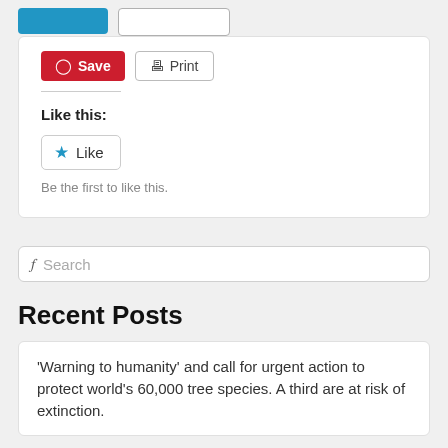[Figure (screenshot): Share buttons: blue button and gray outlined button at top]
[Figure (screenshot): Pinterest Save button (red) and Print button (gray outlined)]
Like this:
[Figure (screenshot): Like button with blue star icon]
Be the first to like this.
Search
Recent Posts
'Warning to humanity' and call for urgent action to protect world's 60,000 tree species. A third are at risk of extinction.